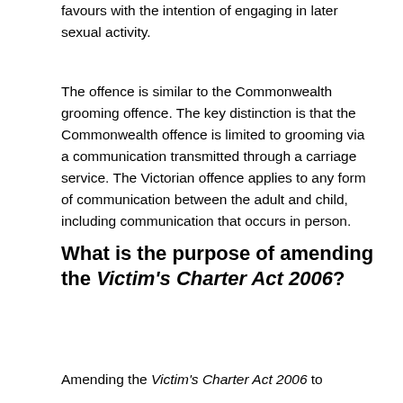favours with the intention of engaging in later sexual activity.
The offence is similar to the Commonwealth grooming offence. The key distinction is that the Commonwealth offence is limited to grooming via a communication transmitted through a carriage service. The Victorian offence applies to any form of communication between the adult and child, including communication that occurs in person.
What is the purpose of amending the Victim's Charter Act 2006?
Amending the Victim's Charter Act 2006 to